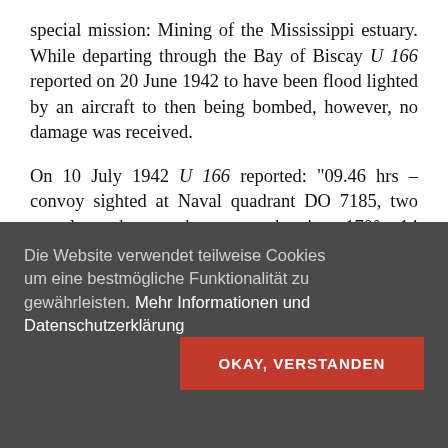special mission: Mining of the Mississippi estuary. While departing through the Bay of Biscay U 166 reported on 20 June 1942 to have been flood lighted by an aircraft to then being bombed, however, no damage was received.
On 10 July 1942 U 166 reported: "09.46 hrs – convoy sighted at Naval quadrant DO 7185, two vessels and two destroyers, bearing 170°, 14 nautical miles, fired six torpedoes all missed. U 166".
Die Website verwendet teilweise Cookies um eine bestmögliche Funktionalität zu gewährleisten. Mehr Informationen und Datenschutzerklärung